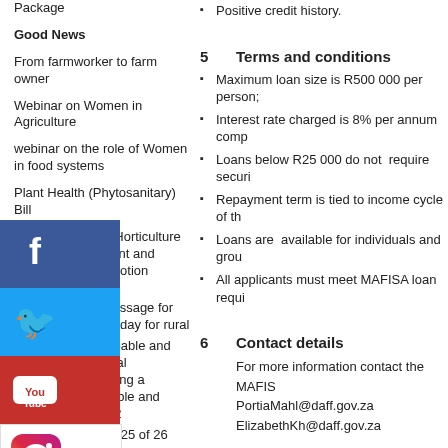Package
Good News
From farmworker to farm owner
Webinar on Women in Agriculture
webinar on the role of Women in food systems
Plant Health (Phytosanitary) Bill
Smallholder Horticulture Empowerment and Promotion Programme
Minister's message for International day for rural
Building a capable and ethical state / Building a capable and ethical state 2
Proclamation 25 of 26 June new departments
Statistics: 2020 export
Positive credit history.
5   Terms and conditions
Maximum loan size is R500 000 per person;
Interest rate charged is 8% per annum comp
Loans below R25 000 do not require securi
Repayment term is tied to income cycle of th
Loans are available for individuals and grou
All applicants must meet MAFISA loan requi
6   Contact details
For more information contact the MAFIS
PortiaMahl@daff.gov.za
ElizabethKh@daff.gov.za
[Figure (infographic): Social media icons: Facebook, Twitter, YouTube, Instagram, NRB 2030 logo stacked vertically on left side]